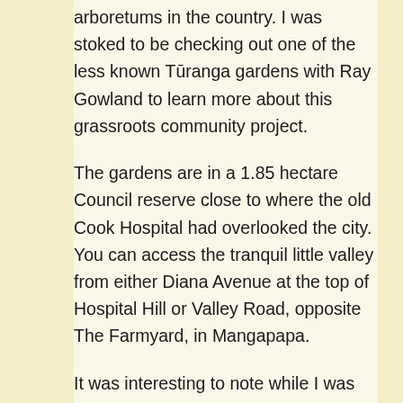arboretums in the country. I was stoked to be checking out one of the less known Tūranga gardens with Ray Gowland to learn more about this grassroots community project.
The gardens are in a 1.85 hectare Council reserve close to where the old Cook Hospital had overlooked the city. You can access the tranquil little valley from either Diana Avenue at the top of Hospital Hill or Valley Road, opposite The Farmyard, in Mangapapa.
It was interesting to note while I was digging around historical documents that the main hospital in the late 1800s had